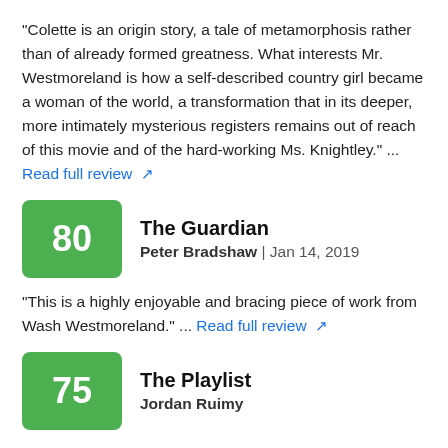"Colette is an origin story, a tale of metamorphosis rather than of already formed greatness. What interests Mr. Westmoreland is how a self-described country girl became a woman of the world, a transformation that in its deeper, more intimately mysterious registers remains out of reach of this movie and of the hard-working Ms. Knightley." ... Read full review
The Guardian | Peter Bradshaw | Jan 14, 2019 | Score: 80
"This is a highly enjoyable and bracing piece of work from Wash Westmoreland." ... Read full review
The Playlist | Jordan Ruimy | Score: 75
"If only more period pieces these days were as finely tuned